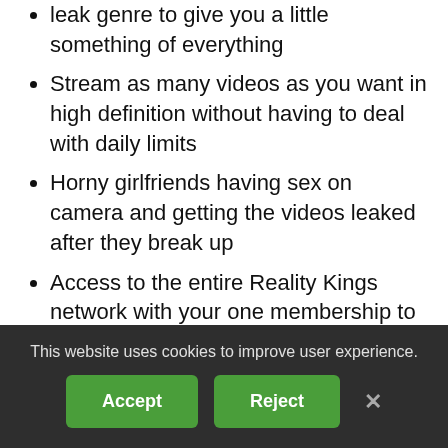leak genre to give you a little something of everything
Stream as many videos as you want in high definition without having to deal with daily limits
Horny girlfriends having sex on camera and getting the videos leaked after they break up
Access to the entire Reality Kings network with your one membership to this site
Conclusion: GFLeaks.com Is The Best Amateur Girlfriend
This website uses cookies to improve user experience.